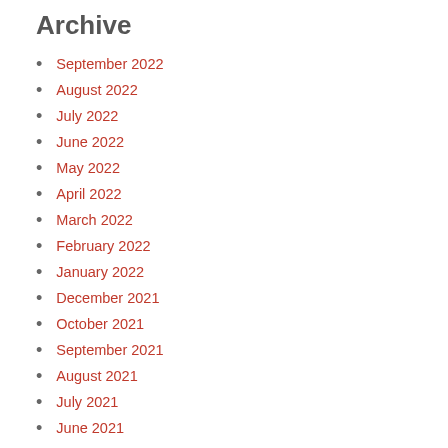Archive
September 2022
August 2022
July 2022
June 2022
May 2022
April 2022
March 2022
February 2022
January 2022
December 2021
October 2021
September 2021
August 2021
July 2021
June 2021
May 2021
April 2021